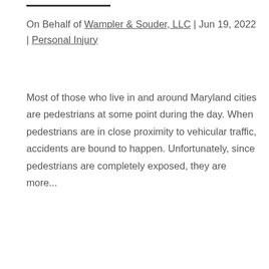On Behalf of Wampler & Souder, LLC | Jun 19, 2022 | Personal Injury
Most of those who live in and around Maryland cities are pedestrians at some point during the day. When pedestrians are in close proximity to vehicular traffic, accidents are bound to happen. Unfortunately, since pedestrians are completely exposed, they are more...